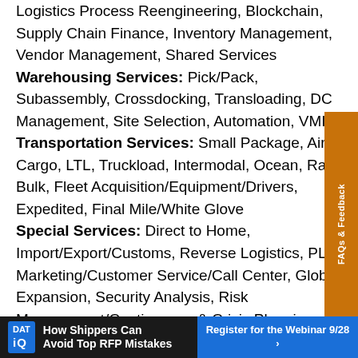Logistics Process Reengineering, Blockchain, Supply Chain Finance, Inventory Management, Vendor Management, Shared Services
Warehousing Services: Pick/Pack, Subassembly, Crossdocking, Transloading, DC Management, Site Selection, Automation, VMI
Transportation Services: Small Package, Air Cargo, LTL, Truckload, Intermodal, Ocean, Rail, Bulk, Fleet Acquisition/Equipment/Drivers, Expedited, Final Mile/White Glove
Special Services: Direct to Home, Import/Export/Customs, Reverse Logistics, PLM, Marketing/Customer Service/Call Center, Global Expansion, Security Analysis, Risk Management/Contingency & Crisis Planning, Logistics/Transportation Consulting, Labor Management, Sustainability/Green Logistics
FAQs & Feedback
How Shippers Can Avoid Top RFP Mistakes — Register for the Webinar 9/28